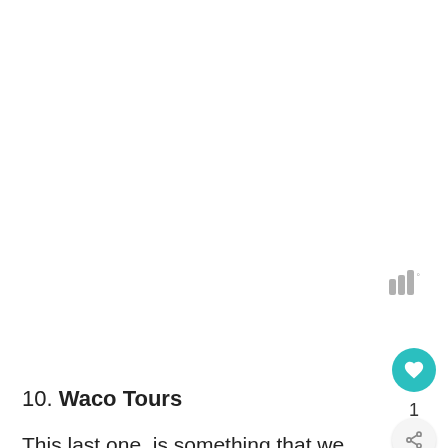[Figure (other): Weather signal/temperature icon with three vertical bars and a degree symbol, rendered in gray]
[Figure (other): Teal circular button with a white heart icon]
1
[Figure (other): Light gray circular share button with share icon]
10. Waco Tours
This last one, is something that we ran out